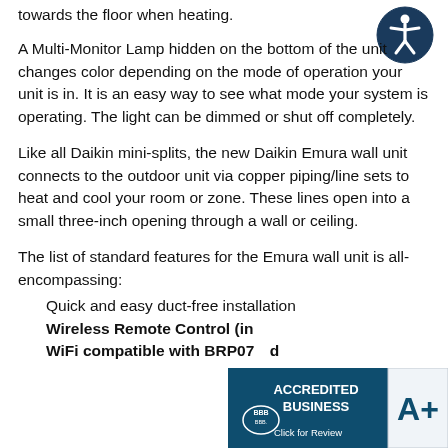towards the floor when heating.
[Figure (illustration): Accessibility icon: person with outstretched arms inside a dark blue circle]
A Multi-Monitor Lamp hidden on the bottom of the unit changes color depending on the mode of operation your unit is in. It is an easy way to see what mode your system is operating. The light can be dimmed or shut off completely.
Like all Daikin mini-splits, the new Daikin Emura wall unit connects to the outdoor unit via copper piping/line sets to heat and cool your room or zone. These lines open into a small three-inch opening through a wall or ceiling.
The list of standard features for the Emura wall unit is all-encompassing:
Quick and easy duct-free installation
Wireless Remote Control (in...
WiFi compatible with BRP07... ...d separately)
[Figure (logo): BBB Accredited Business A+ rating badge with 'Click for Review' text]